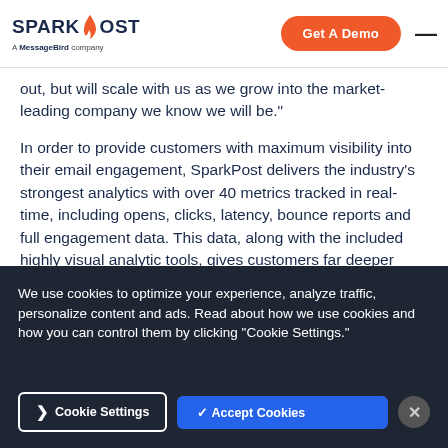SparkPost – A MessageBird company | Get A Demo
out, but will scale with us as we grow into the market-leading company we know we will be."
In order to provide customers with maximum visibility into their email engagement, SparkPost delivers the industry's strongest analytics with over 40 metrics tracked in real-time, including opens, clicks, latency, bounce reports and full engagement data. This data, along with the included highly visual analytic tools, gives customers far deeper insight into their ongoing
We use cookies to optimize your experience, analyze traffic, personalize content and ads. Read about how we use cookies and how you can control them by clicking "Cookie Settings."